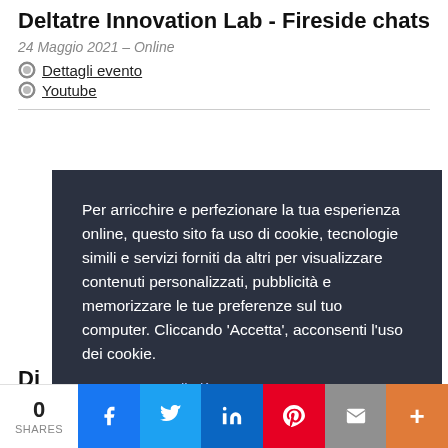Deltatre Innovation Lab - Fireside chats
24 Maggio 2021 – Online
Dettagli evento
Youtube
[Figure (screenshot): Cookie consent overlay on a dark background (#2b3140) with text in Italian explaining the use of cookies, a 'Per saperne di più' link, and two buttons: 'Chiudi' (close) and 'Accetta' (accept, in cyan/blue).]
Di
0 SHARES — social share bar with Facebook, Twitter, LinkedIn, Pinterest, Email, and More buttons